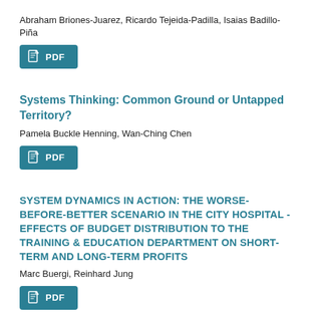Abraham Briones-Juarez, Ricardo Tejeida-Padilla, Isaias Badillo-Piña
[Figure (other): PDF download button]
Systems Thinking: Common Ground or Untapped Territory?
Pamela Buckle Henning, Wan-Ching Chen
[Figure (other): PDF download button]
SYSTEM DYNAMICS IN ACTION: THE WORSE-BEFORE-BETTER SCENARIO IN THE CITY HOSPITAL - EFFECTS OF BUDGET DISTRIBUTION TO THE TRAINING & EDUCATION DEPARTMENT ON SHORT-TERM AND LONG-TERM PROFITS
Marc Buergi, Reinhard Jung
[Figure (other): PDF download button]